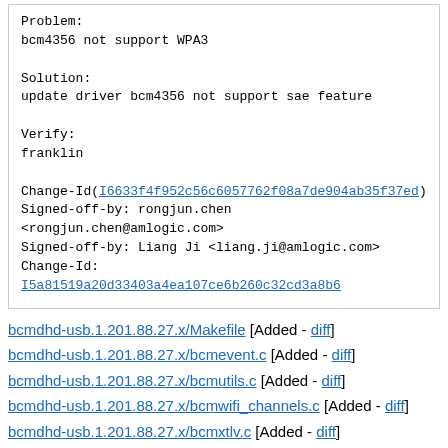Problem:
bcm4356 not support WPA3

Solution:
update driver bcm4356 not support sae feature

Verify:
franklin

Change-Id(I6633f4f952c56c6057762f08a7de904ab35f37ed)
Signed-off-by: rongjun.chen <rongjun.chen@amlogic.com>
Signed-off-by: Liang Ji <liang.ji@amlogic.com>
Change-Id:
I5a81519a20d33403a4ea107ce6b260c32cd3a8b6
bcmdhd-usb.1.201.88.27.x/Makefile [Added - diff]
bcmdhd-usb.1.201.88.27.x/bcmevent.c [Added - diff]
bcmdhd-usb.1.201.88.27.x/bcmutils.c [Added - diff]
bcmdhd-usb.1.201.88.27.x/bcmwifi_channels.c [Added - diff]
bcmdhd-usb.1.201.88.27.x/bcmxtlv.c [Added - diff]